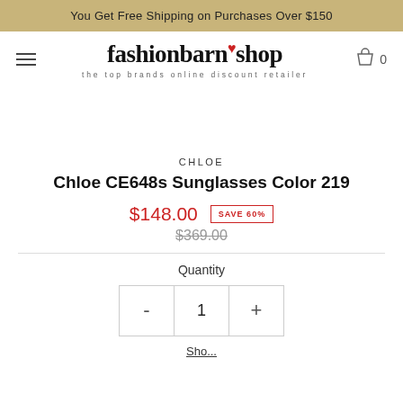You Get Free Shipping on Purchases Over $150
[Figure (logo): fashionbarn shop logo with tagline 'the top brands online discount retailer']
CHLOE
Chloe CE648s Sunglasses Color 219
$148.00  SAVE 60%  $369.00
Quantity
- 1 +